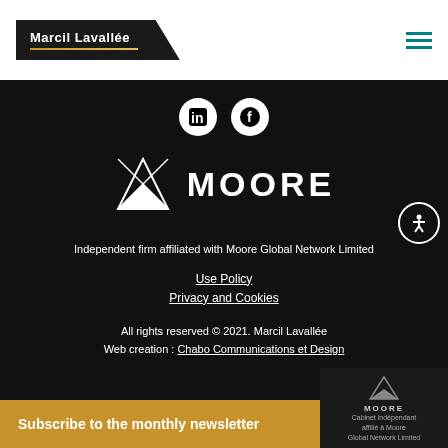[Figure (logo): Marcil Lavallée logo on dark trapezoid background with gold underline]
[Figure (logo): Hamburger menu icon in teal/dark cyan color]
[Figure (logo): LinkedIn and Facebook social media icons (white on black circles)]
[Figure (logo): Moore Global Network logo - geometric M shape with MOORE wordmark in white]
Independent firm affiliated with Moore Global Network Limited
Use Policy
Privacy and Cookies
All rights reserved © 2021. Marcil Lavallée
Web creation : Chabo Communications et Design
Subscribe to the monthly newsletter
[Figure (logo): Moore network badge with triangle logo and text: Cabinet indépendant affilié à Moore Global Network Limited]